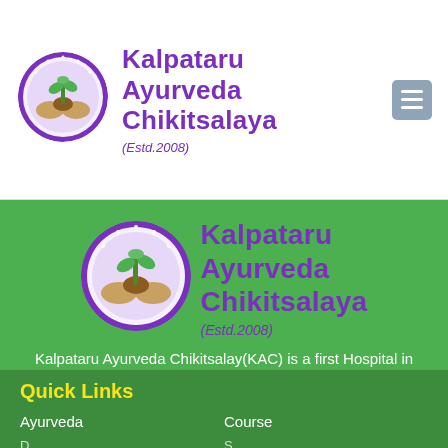[Figure (logo): Kalpataru Ayurveda Chikitsalaya circular logo with hands holding a plant, purple border with Hindi text]
Kalpataru Ayurveda Chikitsalaya
(Estd.2008)
[Figure (logo): Kalpataru Ayurveda Chikitsalaya circular logo - larger version in green section]
Kalpataru Ayurveda Chikitsalaya
(Estd.2008)
Kalpataru Ayurveda Chikitsalay(KAC) is a first Hospital in Pune qualified doctors team engaged in the practice and propagation of Ayurveda .
Quick Links
Ayurveda
Course